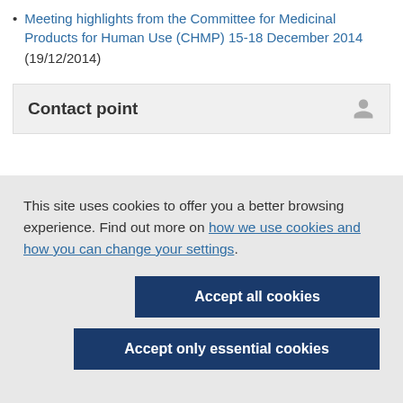Meeting highlights from the Committee for Medicinal Products for Human Use (CHMP) 15-18 December 2014 (19/12/2014)
Contact point
This site uses cookies to offer you a better browsing experience. Find out more on how we use cookies and how you can change your settings.
Accept all cookies
Accept only essential cookies